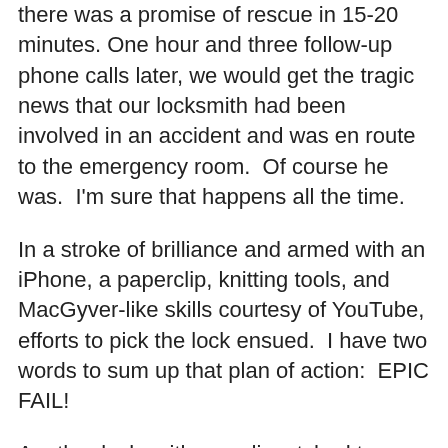there was a promise of rescue in 15-20 minutes. One hour and three follow-up phone calls later, we would get the tragic news that our locksmith had been involved in an accident and was en route to the emergency room.  Of course he was.  I'm sure that happens all the time.
In a stroke of brilliance and armed with an iPhone, a paperclip, knitting tools, and MacGyver-like skills courtesy of YouTube, efforts to pick the lock ensued.  I have two words to sum up that plan of action:  EPIC FAIL!
Another locksmith was dispatched to our location, and spirits lifted once again as our very own locksmith, who will loving be referred to as Juan Carlos, called to let us know he was on his way.  What joy!  However, it became evident